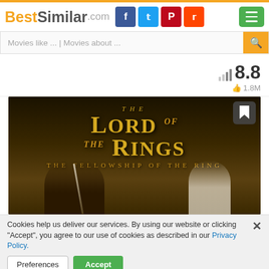BestSimilar.com
Movies like ... | Movies about ...
8.8 rating, 1.8M likes
[Figure (screenshot): The Lord of the Rings: The Fellowship of the Ring movie poster with golden title text on dark background, featuring characters Aragorn and Galadriel]
Cookies help us deliver our services. By using our website or clicking "Accept", you agree to our use of cookies as described in our Privacy Policy.